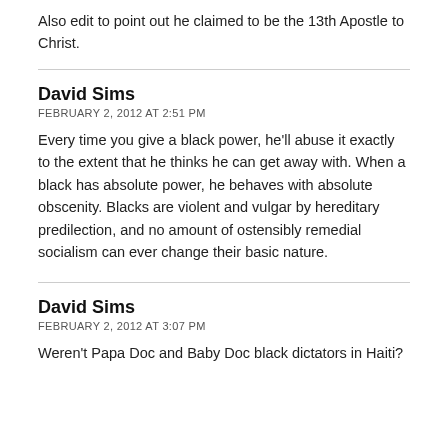Also edit to point out he claimed to be the 13th Apostle to Christ.
David Sims
FEBRUARY 2, 2012 AT 2:51 PM
Every time you give a black power, he'll abuse it exactly to the extent that he thinks he can get away with. When a black has absolute power, he behaves with absolute obscenity. Blacks are violent and vulgar by hereditary predilection, and no amount of ostensibly remedial socialism can ever change their basic nature.
David Sims
FEBRUARY 2, 2012 AT 3:07 PM
Weren't Papa Doc and Baby Doc black dictators in Haiti?